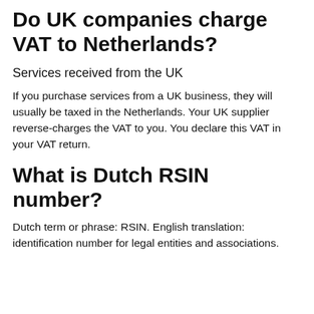Do UK companies charge VAT to Netherlands?
Services received from the UK
If you purchase services from a UK business, they will usually be taxed in the Netherlands. Your UK supplier reverse-charges the VAT to you. You declare this VAT in your VAT return.
What is Dutch RSIN number?
Dutch term or phrase: RSIN. English translation: identification number for legal entities and associations.